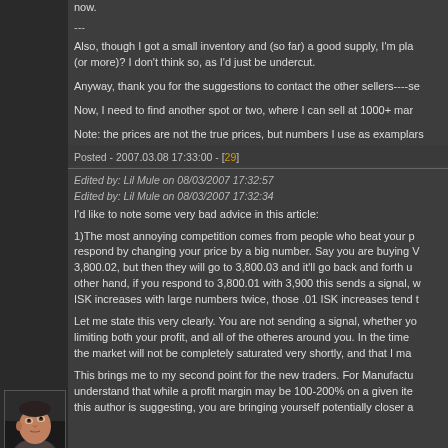now.
---
Also, though I got a small inventory and (so far) a good supply, I'm pl... (or more)? I don't think so, as I'd just be undercut.
Anyway, thank you for the suggestions to contact the other sellers----s...
Now, I need to find another spot or two, where I can sell at 1000+ mar...
Note: the prices are not the true prices, but numbers I use as examplars...
Posted - 2007.03.08 17:33:00 - [29]
[Figure (photo): Avatar image of user Lil Mule - a 3D rendered male face looking upward]
Lil Mule
Edited by: Lil Mule on 08/03/2007 17:32:57
Edited by: Lil Mule on 08/03/2007 17:32:34
I'd like to note some very bad advice in this article:
1)The most annoying competition comes from people who beat your p... respond by changing your price by a big number. Say you are buying V... 3,800.02, but then they will go to 3,800.03 and it'll go back and forth u... other hand, if you respond to 3,800.01 with 3,900 this sends a signal, v... ISK increases with large numbers twice, those .01 ISK increases tend t...
Let me state this very clearly. You are not sending a signal, whether yo... limiting both your profit, and all of the otheres around you. In the time... the market will not be completely saturated very shortly, and that I ma...
This brings me to my second point for the new traders. For Manufactu... understand that while a profit margin may be 100-200% on a given ite... this author is suggesting, you are bringing yourself potentially closer a...